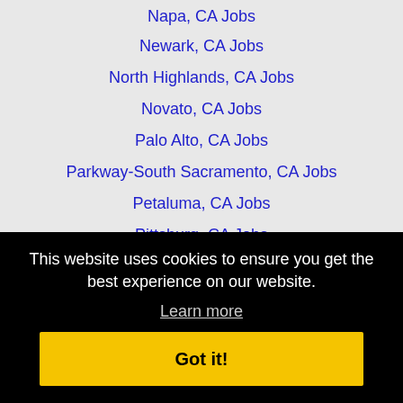Napa, CA Jobs
Newark, CA Jobs
North Highlands, CA Jobs
Novato, CA Jobs
Palo Alto, CA Jobs
Parkway-South Sacramento, CA Jobs
Petaluma, CA Jobs
Pittsburg, CA Jobs
Pleasanton, CA Jobs
Rancho Cordova, CA Jobs
This website uses cookies to ensure you get the best experience on our website.
Learn more
Got it!